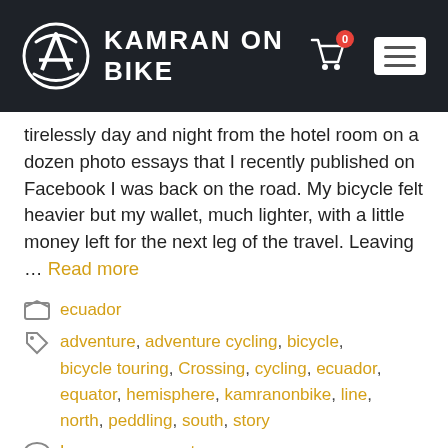KAMRAN ON BIKE
tirelessly day and night from the hotel room on a dozen photo essays that I recently published on Facebook I was back on the road. My bicycle felt heavier but my wallet, much lighter, with a little money left for the next leg of the travel. Leaving … Read more
ecuador
adventure, adventure cycling, bicycle, bicycle touring, Crossing, cycling, ecuador, equator, hemisphere, kamranonbike, line, north, peddling, south, story
Leave a comment